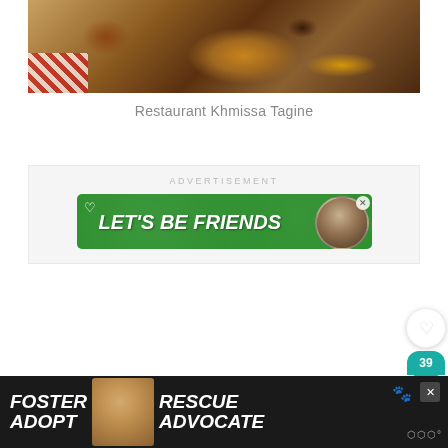[Figure (photo): Close-up photograph of a Moroccan tagine dish in a clay pot with golden broth, placed on a woven placemat with a red checkered cloth]
Restaurant Khmissa Tagine
ADVERTISEMENT
[Figure (photo): Green advertisement banner reading LET'S BE FRIENDS with a dog face image and heart icon]
[Figure (infographic): Dark bottom advertisement banner with FOSTER ADOPT RESCUE ADVOCATE text and a dog photo]
[Figure (other): Weatherbug logo in bottom right corner]